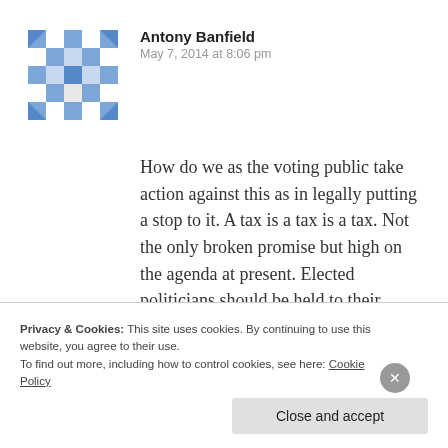[Figure (illustration): Avatar image: blue and white geometric/mosaic pattern square avatar for user Antony Banfield]
Antony Banfield
May 7, 2014 at 8:06 pm
How do we as the voting public take action against this as in legally putting a stop to it. A tax is a tax is a tax. Not the only broken promise but high on the agenda at present. Elected politicians should be held to their election promises. How do I as an individual do anything about this?
Privacy & Cookies: This site uses cookies. By continuing to use this website, you agree to their use.
To find out more, including how to control cookies, see here: Cookie Policy
Close and accept